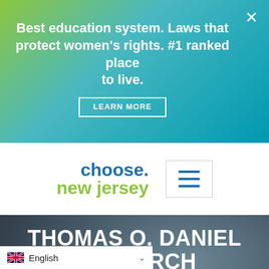[Figure (infographic): Green to teal gradient banner advertisement with white text reading 'Best education system. Laws that protect women's rights. #1 ranked place to live.' with a LEARN MORE button and X close button]
[Figure (logo): Choose New Jersey logo with blue 'choose.' text and green 'new jersey' text, plus hamburger menu icon]
THOMAS O. DANIEL RESEARCH INCUBATOR AND COLLABORATION CENTER SELECTS PHAGENOVA BIO, INC. AS FIRST CLIENT
English